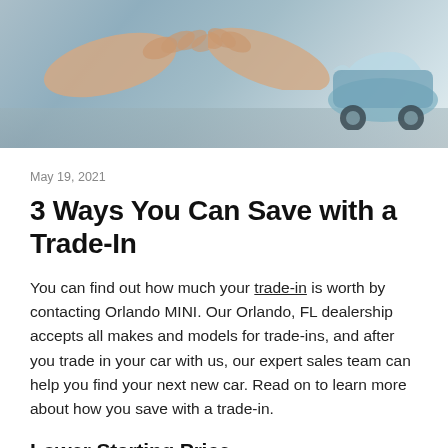[Figure (photo): Photo of hands over a car, blue vehicle visible in background]
May 19, 2021
3 Ways You Can Save with a Trade-In
You can find out how much your trade-in is worth by contacting Orlando MINI. Our Orlando, FL dealership accepts all makes and models for trade-ins, and after you trade in your car with us, our expert sales team can help you find your next new car. Read on to learn more about how you save with a trade-in.
Lower Starting Price